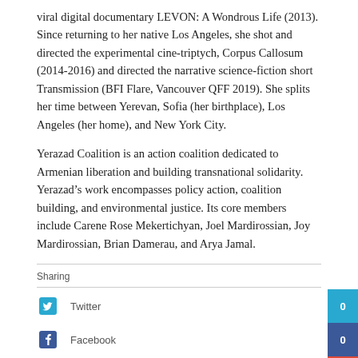viral digital documentary LEVON: A Wondrous Life (2013). Since returning to her native Los Angeles, she shot and directed the experimental cine-triptych, Corpus Callosum (2014-2016) and directed the narrative science-fiction short Transmission (BFI Flare, Vancouver QFF 2019). She splits her time between Yerevan, Sofia (her birthplace), Los Angeles (her home), and New York City.
Yerazad Coalition is an action coalition dedicated to Armenian liberation and building transnational solidarity. Yerazad’s work encompasses policy action, coalition building, and environmental justice. Its core members include Carene Rose Mekertichyan, Joel Mardirossian, Joy Mardirossian, Brian Damerau, and Arya Jamal.
Sharing
Twitter 0
Facebook 0
Google + 0
Linkedin active){li-icon[type=linkedin-bug][color=inverse].background{fill